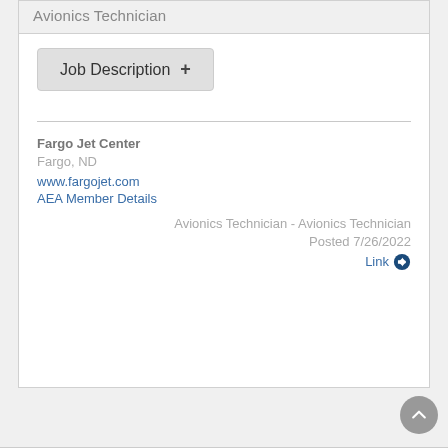Avionics Technician
Job Description +
Fargo Jet Center
Fargo, ND
www.fargojet.com
AEA Member Details
Avionics Technician - Avionics Technician
Posted 7/26/2022
Link